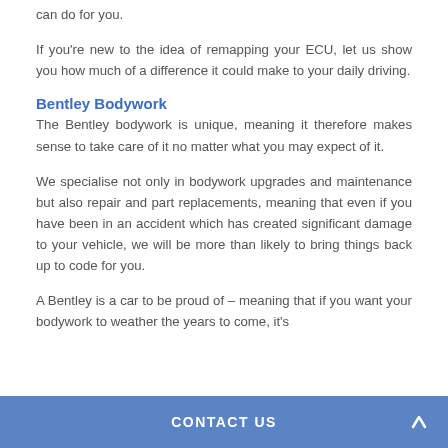can do for you.
If you're new to the idea of remapping your ECU, let us show you how much of a difference it could make to your daily driving.
Bentley Bodywork
The Bentley bodywork is unique, meaning it therefore makes sense to take care of it no matter what you may expect of it.
We specialise not only in bodywork upgrades and maintenance but also repair and part replacements, meaning that even if you have been in an accident which has created significant damage to your vehicle, we will be more than likely to bring things back up to code for you.
A Bentley is a car to be proud of – meaning that if you want your bodywork to weather the years to come, it's
CONTACT US